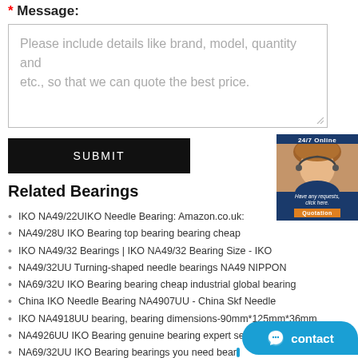* Message:
Please include details like brand, model, quantity and etc., so that we can quote the best price.
SUBMIT
[Figure (other): 24/7 Online customer service widget with agent photo, 'Have any requests, click here.' text and Quotation button]
Related Bearings
IKO NA49/22UIKO Needle Bearing: Amazon.co.uk:
NA49/28U IKO Bearing top bearing bearing cheap
IKO NA49/32 Bearings | IKO NA49/32 Bearing Size - IKO
NA49/32UU Turning-shaped needle bearings NA49 NIPPON
NA69/32U IKO Bearing bearing cheap industrial global bearing
China IKO Needle Bearing NA4907UU - China Skf Needle
IKO NA4918UU bearing, bearing dimensions-90mm*125mm*36mm
NA4926UU IKO Bearing genuine bearing expert search bearing
NA69/32UU IKO Bearing bearings you need bear…
IKO NA4914UU|NA4914UU |NA4914UU bearings b…
NA4922UU IKO Bearing bearing specialist global bearing brand
[Figure (other): Contact bubble button at bottom right with smiley face icon and 'contact' text]